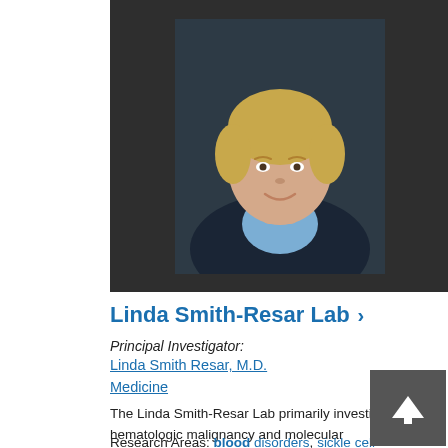[Figure (photo): Professional headshot of Linda Smith-Resar, a woman with short blonde hair wearing a blue collared jacket, against a dark background]
Linda Smith-Resar Lab >
Principal Investigator:
Linda Smith Resar, M.D.
Medicine
The Linda Smith-Resar Lab primarily investigates hematologic malignancy and molecular mechanism… view more
Research Areas: blood disorders, sickle cell